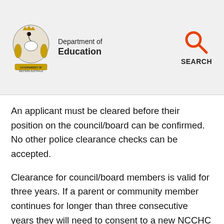[Figure (logo): Government of Western Australia coat of arms with swan, Department of Education logo and SEARCH icon]
An applicant must be cleared before their position on the council/board can be confirmed. No other police clearance checks can be accepted.
Clearance for council/board members is valid for three years. If a parent or community member continues for longer than three consecutive years they will need to consent to a new NCCHC before starting their fourth year. If a parent or community member withdraws from being on the council/board or their tenure expires, and they later decide to return, they will need to have a new NCCHC before their position can be confirmed. Student members under 18 years do not need to be screened. All